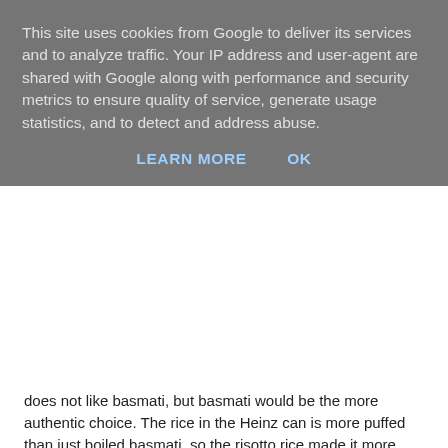This site uses cookies from Google to deliver its services and to analyze traffic. Your IP address and user-agent are shared with Google along with performance and security metrics to ensure quality of service, generate usage statistics, and to detect and address abuse.
LEARN MORE   OK
does not like basmati, but basmati would be the more authentic choice. The rice in the Heinz can is more puffed than just boiled basmati, so the risotto rice made it more akin to the canned version.
I guess this could be made in a more conventionally paleo way with cauliflower rice. If the cauliflower rice was lightly fried in a dusting of spices, that would be excellent! Turmeric, cumin and coriander would be just right.
Shred some of the leftover beef brisket and warm through in the soup.
Drain the rice and tip into the soup.